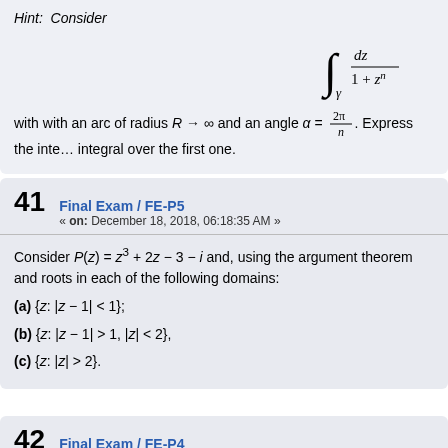Hint: Consider
with with an arc of radius R → ∞ and an angle α = 2π/n. Express the integral over the first one.
41 Final Exam / FE-P5
« on: December 18, 2018, 06:18:35 AM »
Consider P(z) = z³ + 2z − 3 − i and, using the argument theorem and roots in each of the following domains:
(a) {z: |z − 1| < 1};
(b) {z: |z − 1| > 1, |z| < 2},
(c) {z: |z| > 2}.
42 Final Exam / FE-P4
« on: December 18, 2018, 06:17:33 AM »